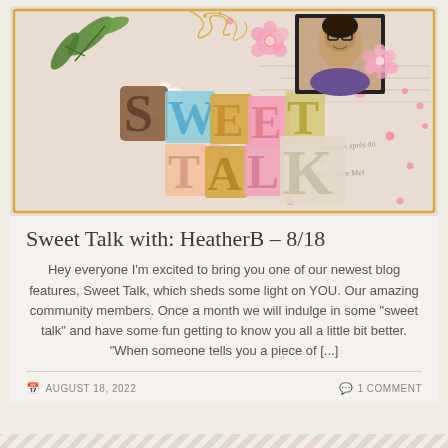[Figure (illustration): Decorative scrapbook layout image with text 'SWEET TALK' in large patterned letters, pink flowers, green leaves, gold swirls, and a framed photo of a woman with glasses in the upper right area.]
Sweet Talk with: HeatherB – 8/18
Hey everyone I'm excited to bring you one of our newest blog features, Sweet Talk, which sheds some light on YOU. Our amazing community members. Once a month we will indulge in some "sweet talk" and have some fun getting to know you all a little bit better. "When someone tells you a piece of [...]
AUGUST 18, 2022   1 COMMENT